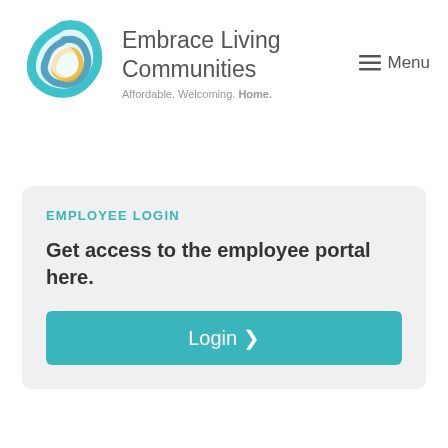[Figure (logo): Embrace Living Communities logo: stylized 'e' shape in teal, blue, and yellow/gold swirls]
Embrace Living Communities
Affordable. Welcoming. Home.
≡ Menu
EMPLOYEE LOGIN
Get access to the employee portal here.
Login >